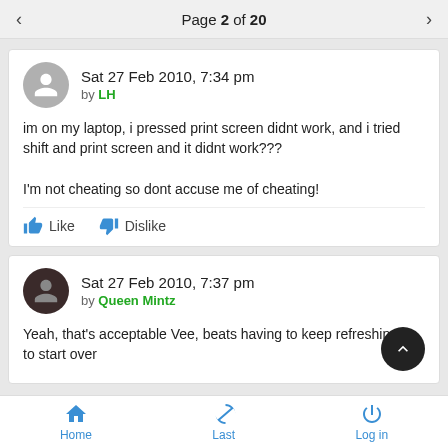Page 2 of 20
Sat 27 Feb 2010, 7:34 pm
by LH

im on my laptop, i pressed print screen didnt work, and i tried shift and print screen and it didnt work???

I'm not cheating so dont accuse me of cheating!
Sat 27 Feb 2010, 7:37 pm
by Queen Mintz

Yeah, that's acceptable Vee, beats having to keep refreshing to start over
Home  Last  Log in